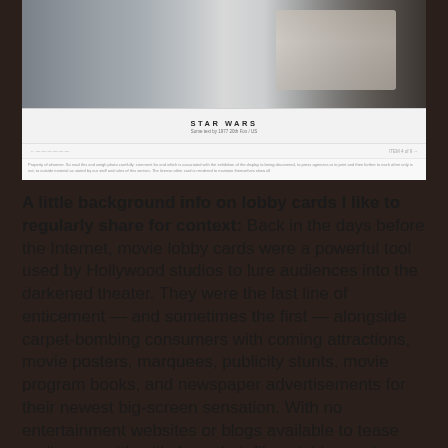[Figure (screenshot): Screenshot of a Star Wars lobby card or movie page with photo of people and text reading STAR WARS with subtitle and navigation links]
A little background info on lobby cards I like to regularly share for context: Back in the days before the Internet, movie lobby cards were a powerful tool used by Hollywood studios to lure audiences into the darkened theater. They were the last line of enticement — and sometimes the first — alongside carpet-bombing consumers with coming attractions, movie posters, marquees, publicity stunts, movie program books, and newspaper advertisements for their newest big-screen sensation. With no entertainment websites or blogs available to tease audiences with stills from their films, lobby cards served that